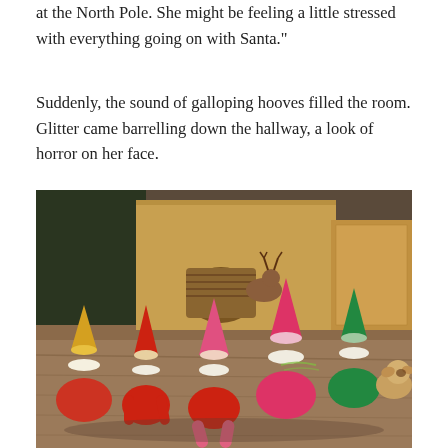at the North Pole. She might be feeling a little stressed with everything going on with Santa."
Suddenly, the sound of galloping hooves filled the room. Glitter came barrelling down the hallway, a look of horror on her face.
[Figure (photo): Several Elf on the Shelf dolls and stuffed animals sitting on a hardwood floor, viewed from behind, facing toward cardboard boxes and a wicker basket in the background.]